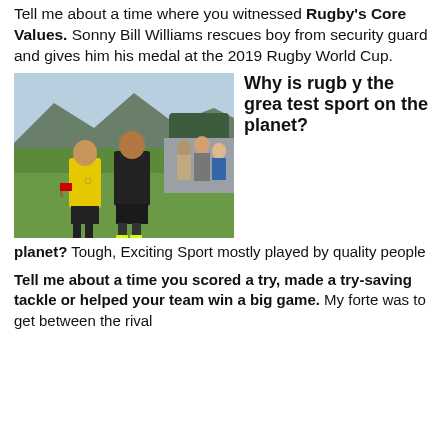Tell me about a time where you witnessed Rugby's Core Values. Sonny Bill Williams rescues boy from security guard and gives him his medal at the 2019 Rugby World Cup.
[Figure (photo): Two rugby players standing on a grass field; one wearing a yellow referee jersey with a medal, one in a dark rugby jersey. Mountains and spectators visible in background.]
Why is rugby the greatest sport on the planet? Tough, Exciting Sport mostly played by quality people
Tell me about a time you scored a try, made a try-saving tackle or helped your team win a big game. My forte was to get between the rival